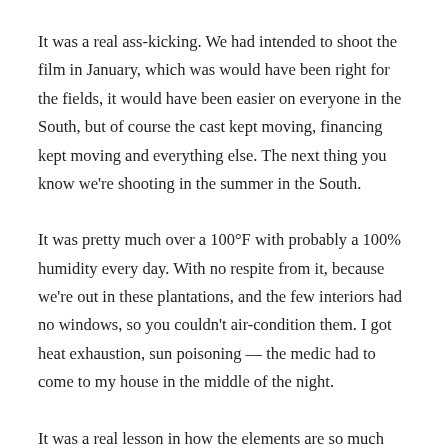It was a real ass-kicking. We had intended to shoot the film in January, which was would have been right for the fields, it would have been easier on everyone in the South, but of course the cast kept moving, financing kept moving and everything else. The next thing you know we're shooting in the summer in the South.
It was pretty much over a 100°F with probably a 100% humidity every day. With no respite from it, because we're out in these plantations, and the few interiors had no windows, so you couldn't air-condition them. I got heat exhaustion, sun poisoning — the medic had to come to my house in the middle of the night.
It was a real lesson in how the elements are so much more powerful than any one of us.